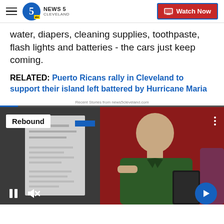NEWS 5 CLEVELAND | Watch Now
water, diapers, cleaning supplies, toothpaste, flash lights and batteries - the cars just keep coming.
RELATED: Puerto Ricans rally in Cleveland to support their island left battered by Hurricane Maria
Recent Stories from news5cleveland.com
[Figure (screenshot): Video player showing a man in a dark green shirt in front of a red background, with 'Rebound' badge, playback controls (pause, mute), and a blue next arrow button.]